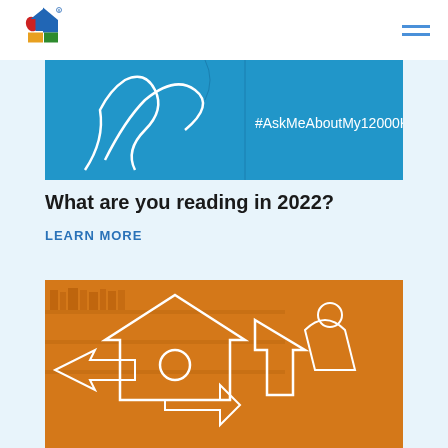[Figure (illustration): Blue banner image with abstract white line art of a person reading, with hashtag #AskMeAboutMy12000Kids on the right side]
What are you reading in 2022?
LEARN MORE
[Figure (illustration): Orange-tinted image of a library interior with bookshelves, overlaid with white line art of house and figure shapes (organization logo style)]